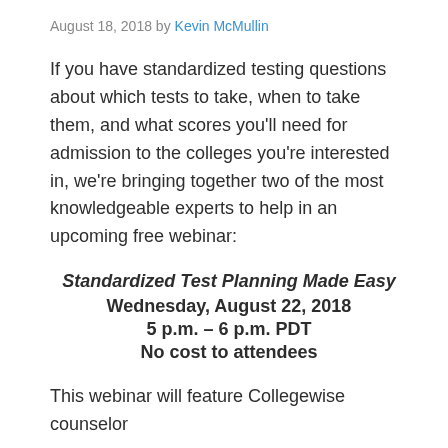August 18, 2018 by Kevin McMullin
If you have standardized testing questions about which tests to take, when to take them, and what scores you'll need for admission to the colleges you're interested in, we're bringing together two of the most knowledgeable experts to help in an upcoming free webinar:
Standardized Test Planning Made Easy
Wednesday, August 22, 2018
5 p.m. – 6 p.m. PDT
No cost to attendees
This webinar will feature Collegewise counselor